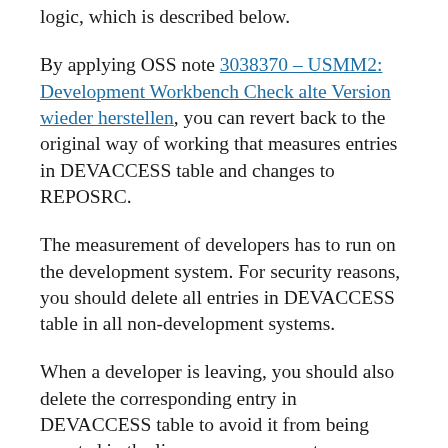logic, which is described below.
By applying OSS note 3038370 – USMM2: Development Workbench Check alte Version wieder herstellen, you can revert back to the original way of working that measures entries in DEVACCESS table and changes to REPOSRC.
The measurement of developers has to run on the development system. For security reasons, you should delete all entries in DEVACCESS table in all non-development systems.
When a developer is leaving, you should also delete the corresponding entry in DEVACCESS table to avoid it from being counted in the license measurement.